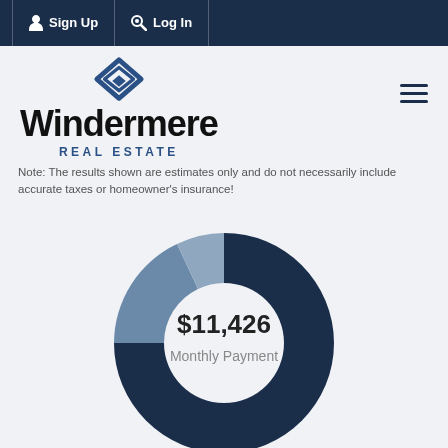Sign Up  Log In
[Figure (logo): Windermere Real Estate logo with diamond/arrow icon above the wordmark]
Note: The results shown are estimates only and do not necessarily include accurate taxes or homeowner's insurance!
[Figure (donut-chart): Donut chart showing monthly payment breakdown of $11,426. Large dark navy segment (~75%), medium steel-blue segment (~18%), small dark segment (~7%). Center label shows $11,426 Monthly Payment.]